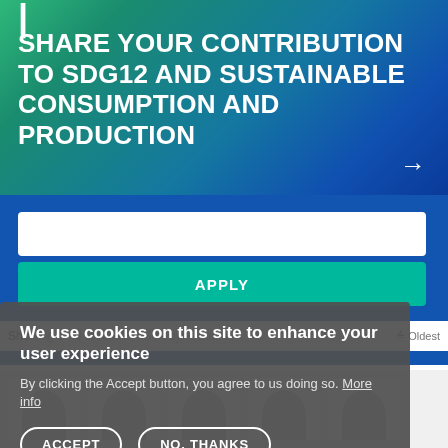[Figure (screenshot): Hero banner with green-to-blue gradient background and SDG12 title text]
SHARE YOUR CONTRIBUTION TO SDG12 AND SUSTAINABLE CONSUMPTION AND PRODUCTION
[Figure (screenshot): Search input box and Apply button on blue background]
Showing 1 - 8 of results   Sort by:   Latest   Oldest
We use cookies on this site to enhance your user experience
By clicking the Accept button, you agree to us doing so. More info
ACCEPT
NO, THANKS